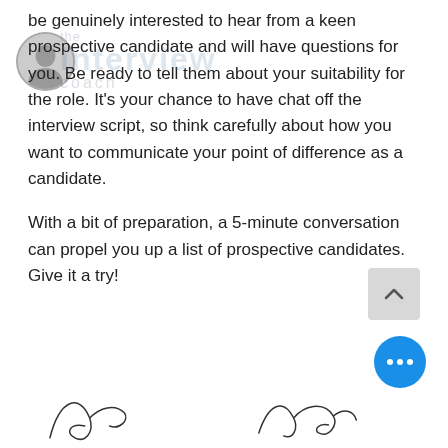be genuinely interested to hear from a keen prospective candidate and will have questions for you. Be ready to tell them about your suitability for the role. It's your chance to have chat off the interview script, so think carefully about how you want to communicate your point of difference as a candidate.
With a bit of preparation, a 5-minute conversation can propel you up a list of prospective candidates. Give it a try!
[Figure (illustration): Watermark logo for 'the interview coach' with a circular avatar photo in top-left corner]
[Figure (illustration): Two handwritten signatures at the bottom of the page]